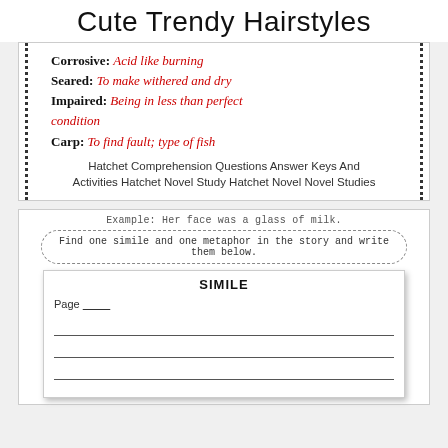Cute Trendy Hairstyles
Corrosive: Acid like burning
Seared: To make withered and dry
Impaired: Being in less than perfect condition
Carp: To find fault; type of fish
Hatchet Comprehension Questions Answer Keys And Activities Hatchet Novel Study Hatchet Novel Novel Studies
Example: Her face was a glass of milk.
Find one simile and one metaphor in the story and write them below.
SIMILE
Page ___